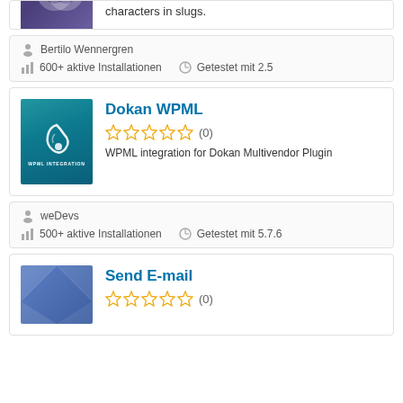characters in slugs.
Bertilo Wennergren
600+ aktive Installationen
Getestet mit 2.5
[Figure (screenshot): Dokan WPML plugin card with teal background and swirl logo, labeled WPML INTEGRATION]
Dokan WPML
(0)
WPML integration for Dokan Multivendor Plugin
weDevs
500+ aktive Installationen
Getestet mit 5.7.6
[Figure (screenshot): Send E-mail plugin card with blue geometric triangle background]
Send E-mail
(0)